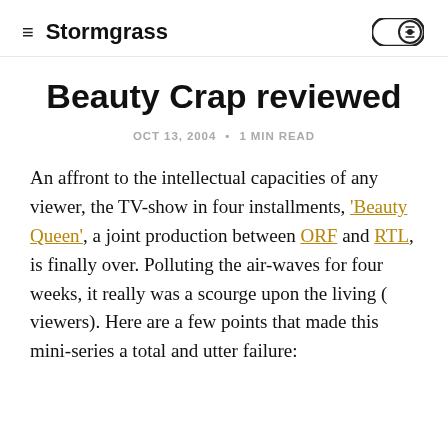≡  Stormgrass
Beauty Crap reviewed
OCT 13, 2004 • 1 MIN READ
An affront to the intellectual capacities of any viewer, the TV-show in four installments, 'Beauty Queen', a joint production between ORF and RTL, is finally over. Polluting the air-waves for four weeks, it really was a scourge upon the living ( viewers). Here are a few points that made this mini-series a total and utter failure: